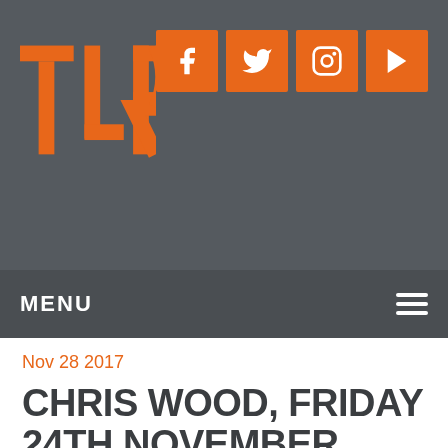[Figure (logo): TLR logo in orange on dark grey background with social media icons (Facebook, Twitter, Instagram, YouTube)]
MENU
Nov 28 2017
CHRIS WOOD, FRIDAY 24TH NOVEMBER 2017
The third and very welcome visit of multi Folk Award winner Chris Wood. The show was, quite simply, as I expected, excellent. No real review from me just a couple of comments. We had a